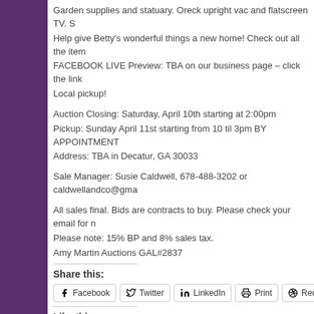Garden supplies and statuary. Oreck upright vac and flatscreen TV. S
Help give Betty's wonderful things a new home! Check out all the item
FACEBOOK LIVE Preview: TBA on our business page – click the link
Local pickup!
Auction Closing: Saturday, April 10th starting at 2:00pm
Pickup: Sunday April 11st starting from 10 til 3pm BY APPOINTMENT
Address: TBA in Decatur, GA 30033
Sale Manager: Susie Caldwell, 678-488-3202 or caldwellandco@gma
All sales final. Bids are contracts to buy. Please check your email for n
Please note: 15% BP and 8% sales tax.
Amy Martin Auctions GAL#2837
Share this:
Facebook  Twitter  LinkedIn  Print  Reddit
Like this:
Like
Be the first to like this.